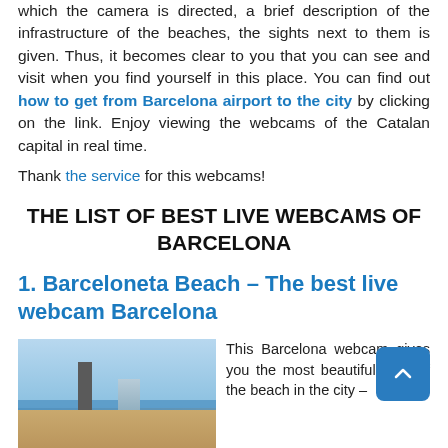which the camera is directed, a brief description of the infrastructure of the beaches, the sights next to them is given. Thus, it becomes clear to you that you can see and visit when you find yourself in this place. You can find out how to get from Barcelona airport to the city by clicking on the link. Enjoy viewing the webcams of the Catalan capital in real time.
Thank the service for this webcams!
THE LIST OF BEST LIVE WEBCAMS OF BARCELONA
1. Barceloneta Beach – The best live webcam Barcelona
[Figure (photo): Photo of Barceloneta Beach showing a blue sky, sea, a tall tower structure, and a building along the shoreline with sandy beach in foreground.]
This Barcelona webcam gives you the most beautiful view of the beach in the city –